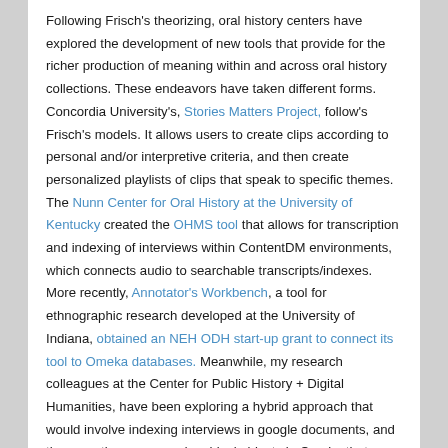Following Frisch's theorizing, oral history centers have explored the development of new tools that provide for the richer production of meaning within and across oral history collections. These endeavors have taken different forms.  Concordia University's, Stories Matters Project, follow's Frisch's models. It allows users to create clips according to personal and/or interpretive criteria, and then create personalized playlists of clips that speak to specific themes.  The Nunn Center for Oral History at the University of Kentucky created the OHMS tool that allows for transcription and indexing of interviews within ContentDM environments, which connects audio to searchable transcripts/indexes. More recently, Annotator's Workbench, a tool for ethnographic research developed at the University of Indiana, obtained an NEH ODH start-up grant to connect its tool to Omeka databases. Meanwhile, my research colleagues at the Center for Public History + Digital Humanities, have been exploring a hybrid approach that would involve indexing interviews in google documents, and then creating compound archival objects in Omeka that would link audio clips and thematically tagged...